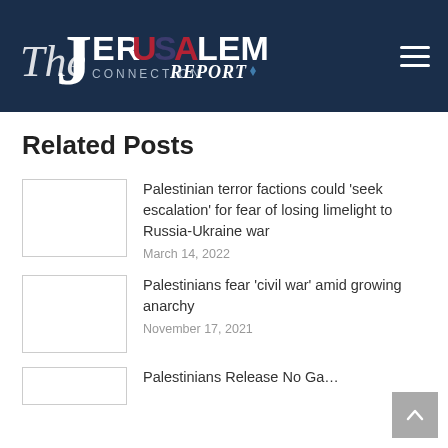The Jerusalem Connection Report
Related Posts
Palestinian terror factions could 'seek escalation' for fear of losing limelight to Russia-Ukraine war
March 14, 2022
Palestinians fear 'civil war' amid growing anarchy
November 17, 2021
Palestinians Release No Gas Tall...